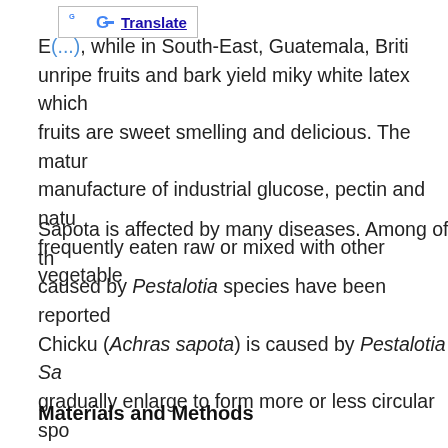[Figure (screenshot): Google Translate button/widget in top-left area]
E[...], while in South-East, Guatemala, Briti... unripe fruits and bark yield miky white latex which ... fruits are sweet smelling and delicious. The matu... manufacture of industrial glucose, pectin and natu... frequently eaten raw or mixed with other vegetable...
Sapota is affected by many diseases. Among of th... caused by Pestalotia species have been reported ... Chicku (Achras sapota) is caused by Pestalotia Sa... gradually enlarge to form more or less circular spo... of the disease is observed during October-Decemb... and control measures of the leaf spot disease of S... fungicides in controlling leaf spot of Sapota.
Materials and Methods